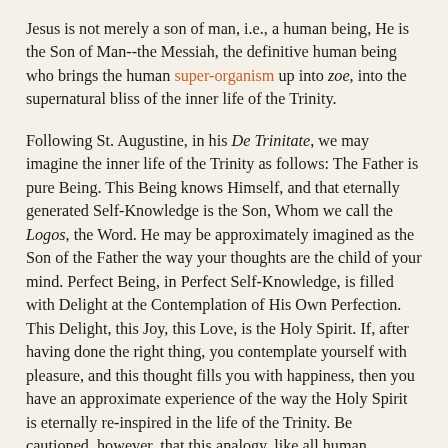Jesus is not merely a son of man, i.e., a human being, He is the Son of Man--the Messiah, the definitive human being who brings the human super-organism up into zoe, into the supernatural bliss of the inner life of the Trinity.
Following St. Augustine, in his De Trinitate, we may imagine the inner life of the Trinity as follows: The Father is pure Being. This Being knows Himself, and that eternally generated Self-Knowledge is the Son, Whom we call the Logos, the Word. He may be approximately imagined as the Son of the Father the way your thoughts are the child of your mind. Perfect Being, in Perfect Self-Knowledge, is filled with Delight at the Contemplation of His Own Perfection. This Delight, this Joy, this Love, is the Holy Spirit. If, after having done the right thing, you contemplate yourself with pleasure, and this thought fills you with happiness, then you have an approximate experience of the way the Holy Spirit is eternally re-inspired in the life of the Trinity. Be cautioned, however, that this analogy, like all human attempts to wrestle with the riddle of the Divine nature, is misleading in many ways. E.g., although the inner life of the Trinity is One because, among many other reasons, it is like the life of a single human mind, it is also Threefold in a way we cannot imagine: the Being, the Knowledge,